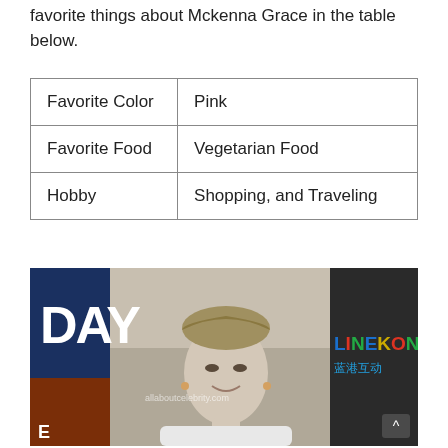favorite things about Mckenna Grace in the table below.
| Favorite Color | Pink |
| Favorite Food | Vegetarian Food |
| Hobby | Shopping, and Traveling |
[Figure (photo): Photo of Mckenna Grace smiling at an event, with braided updo hairstyle. Background shows signage including 'DAY' on left side and 'LINEKON / 蓝港互动' branding on right. Watermark reads 'allaboutcelebrity.com'.]